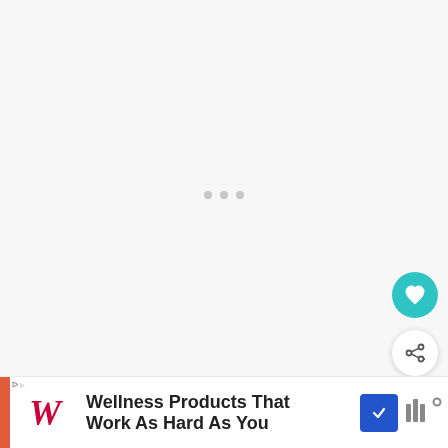[Figure (screenshot): Loading screen with three gray dots centered on a light gray background]
[Figure (other): Teal circular heart/favorite button]
[Figure (other): White circular share/add button with shadow]
[Figure (other): What's Next panel showing thumbnail and 'Salted Caramel...' title with teal WHAT'S NEXT label and arrow]
[Figure (other): Advertisement bar: Walgreens logo with text 'Wellness Products That Work As Hard As You', navigation icon, and brand mark]